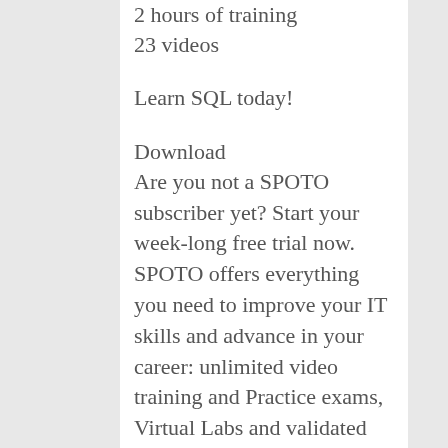2 hours of training
23 videos
Learn SQL today!
Download
Are you not a SPOTO subscriber yet? Start your week-long free trial now. SPOTO offers everything you need to improve your IT skills and advance in your career: unlimited video training and Practice exams, Virtual Labs and validated learning with in-video Quizzes, Accountability coaching, and access to our exclusive IT